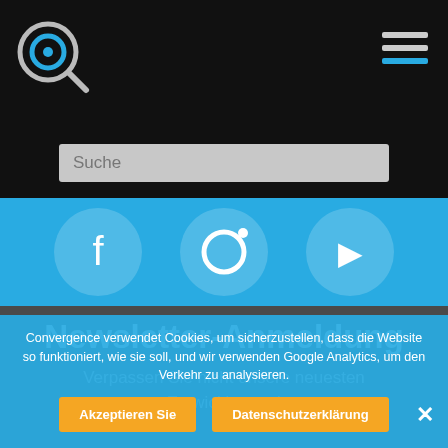[Figure (logo): Circular logo with magnifying glass icon, white on dark background]
[Figure (illustration): Hamburger/menu icon with three horizontal lines, bottom line blue]
Suche
[Figure (illustration): Three circular social media icons on blue background (partially visible)]
Newsletter-Anmeldung
Verpassen Sie nicht unsere neuesten Entwicklungen!
Convergence verwendet Cookies, um sicherzustellen, dass die Website so funktioniert, wie sie soll, und wir verwenden Google Analytics, um den Verkehr zu analysieren.
Akzeptieren Sie
Datenschutzerklärung